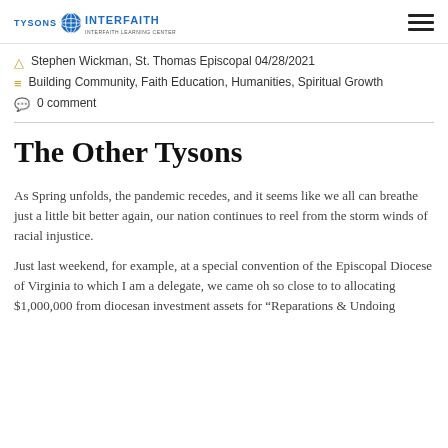TYSONS INTERFAITH
Stephen Wickman, St. Thomas Episcopal 04/28/2021
Building Community, Faith Education, Humanities, Spiritual Growth
0 comment
The Other Tysons
As Spring unfolds, the pandemic recedes, and it seems like we all can breathe just a little bit better again, our nation continues to reel from the storm winds of racial injustice.
Just last weekend, for example, at a special convention of the Episcopal Diocese of Virginia to which I am a delegate, we came oh so close to to allocating $1,000,000 from diocesan investment assets for “Reparations & Undoing